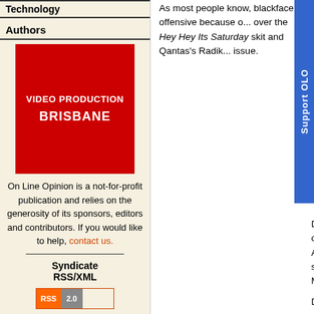Technology
Authors
[Figure (photo): Advertisement for Video Production Brisbane - red background with white text]
On Line Opinion is a not-for-profit publication and relies on the generosity of its sponsors, editors and contributors. If you would like to help, contact us.
Syndicate
RSS/XML
[Figure (logo): RSS 2.0 badge in orange and gray]
As most people know, blackface is offensive because over the Hey Hey Its Saturday skit and Qantas's Radik... issue.
Delta's gaffe was met with outrage on Twitter. Comedian Aame... 'stupid and racist'. More sensibly, Nazeem Hussain and Micha... perceived as racist.
Delta subsequently apologised.
The matter should have ended there, but then along came Mia...